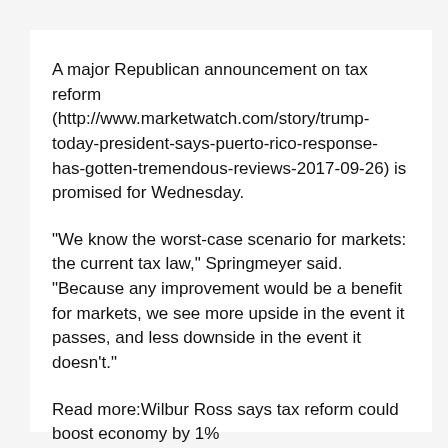A major Republican announcement on tax reform (http://www.marketwatch.com/story/trump-today-president-says-puerto-rico-response-has-gotten-tremendous-reviews-2017-09-26) is promised for Wednesday.
"We know the worst-case scenario for markets: the current tax law," Springmeyer said. "Because any improvement would be a benefit for markets, we see more upside in the event it passes, and less downside in the event it doesn't."
Read more:Wilbur Ross says tax reform could boost economy by 1% (http://www.marketwatch.com/story/wilbur-ross-done-right-tax-reform-could-boost-economy-by-1-2017-09-26)